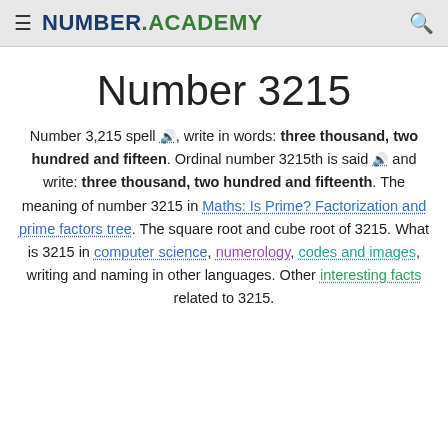NUMBER.ACADEMY
Number 3215
Number 3,215 spell 🔊, write in words: three thousand, two hundred and fifteen. Ordinal number 3215th is said 🔊 and write: three thousand, two hundred and fifteenth. The meaning of number 3215 in Maths: Is Prime? Factorization and prime factors tree. The square root and cube root of 3215. What is 3215 in computer science, numerology, codes and images, writing and naming in other languages. Other interesting facts related to 3215.